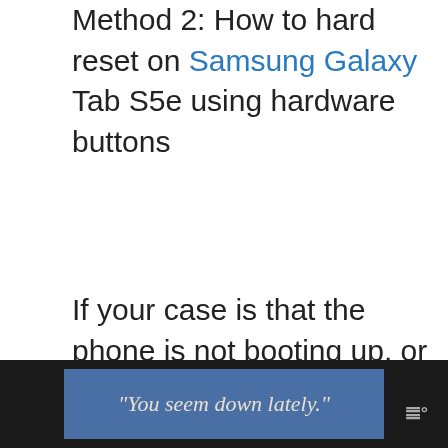Method 2: How to hard reset on Samsung Galaxy Tab S5e using hardware buttons
If your case is that the phone is not booting up, or it boots but Settings menu is inaccessible, this method can be helpful. First, you need to boot the device to Recovery Mode. Once you successfully access Recovery, that's the time that you begin proper master reset
[Figure (other): Advertisement banner with dark background showing text 'You seem down lately.' in italic serif font on a blue rectangle, with a logo on the right]